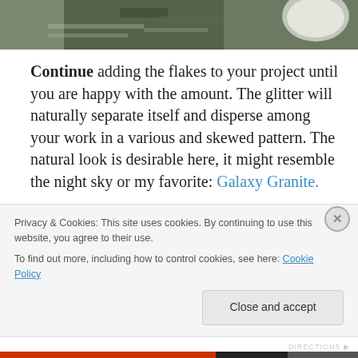[Figure (photo): Top portion of a photo showing what appears to be craft materials or food items on a surface, partially cropped at top]
Continue adding the flakes to your project until you are happy with the amount. The glitter will naturally separate itself and disperse among your work in a various and skewed pattern. The natural look is desirable here, it might resemble the night sky or my favorite: Galaxy Granite.
Wait for your frames to dry, then attach the glass and pictures! Hang them up or give them to your friends! You
Privacy & Cookies: This site uses cookies. By continuing to use this website, you agree to their use.
To find out more, including how to control cookies, see here: Cookie Policy
Close and accept